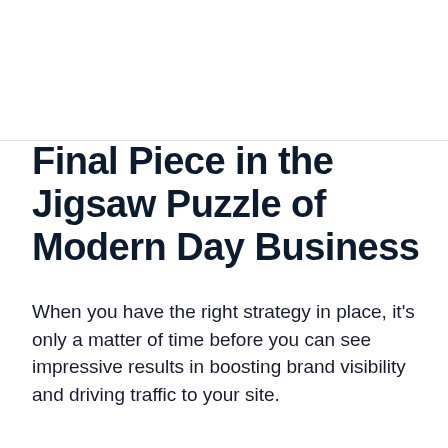Final Piece in the Jigsaw Puzzle of Modern Day Business
When you have the right strategy in place, it's only a matter of time before you can see impressive results in boosting brand visibility and driving traffic to your site.
By  Thomas Ai Nerd Helfrich
Opinions expressed by Entrepreneur contributors are their